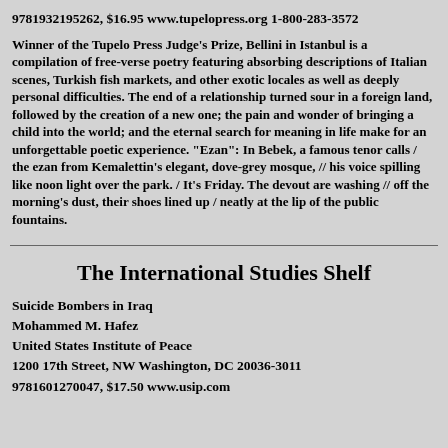9781932195262, $16.95 www.tupelopress.org 1-800-283-3572
Winner of the Tupelo Press Judge's Prize, Bellini in Istanbul is a compilation of free-verse poetry featuring absorbing descriptions of Italian scenes, Turkish fish markets, and other exotic locales as well as deeply personal difficulties. The end of a relationship turned sour in a foreign land, followed by the creation of a new one; the pain and wonder of bringing a child into the world; and the eternal search for meaning in life make for an unforgettable poetic experience. "Ezan": In Bebek, a famous tenor calls / the ezan from Kemalettin's elegant, dove-grey mosque, // his voice spilling like noon light over the park. / It's Friday. The devout are washing // off the morning's dust, their shoes lined up / neatly at the lip of the public fountains.
The International Studies Shelf
Suicide Bombers in Iraq
Mohammed M. Hafez
United States Institute of Peace
1200 17th Street, NW Washington, DC 20036-3011
9781601270047, $17.50 www.usip.com